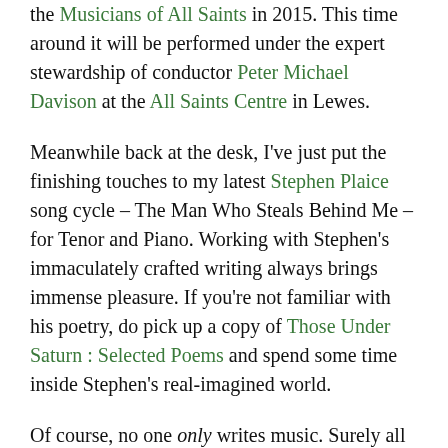the Musicians of All Saints in 2015. This time around it will be performed under the expert stewardship of conductor Peter Michael Davison at the All Saints Centre in Lewes.
Meanwhile back at the desk, I've just put the finishing touches to my latest Stephen Plaice song cycle – The Man Who Steals Behind Me – for Tenor and Piano. Working with Stephen's immaculately crafted writing always brings immense pleasure. If you're not familiar with his poetry, do pick up a copy of Those Under Saturn : Selected Poems and spend some time inside Stephen's real-imagined world.
Of course, no one only writes music. Surely all composers do ordinary things, at least sometimes. I happen to bake – not professionally, but reasonably competently and quirkily imaginatively. If you really